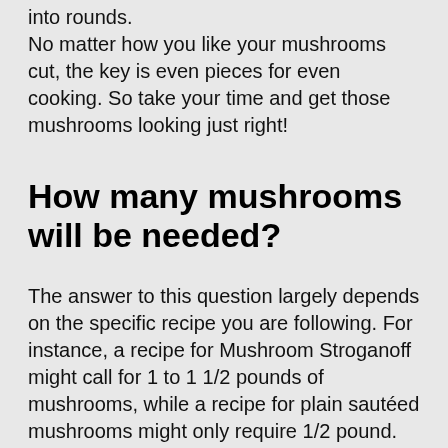into rounds. No matter how you like your mushrooms cut, the key is even pieces for even cooking. So take your time and get those mushrooms looking just right!
How many mushrooms will be needed?
The answer to this question largely depends on the specific recipe you are following. For instance, a recipe for Mushroom Stroganoff might call for 1 to 1 1/2 pounds of mushrooms, while a recipe for plain sautéed mushrooms might only require 1/2 pound. As a general rule of thumb, one pound of mushrooms will provide four servings. Therefore, if you are cooking for a group of four people, you will need one pound of mushrooms. If you are cooking for a larger group, or if you simply want to have leftovers, you might want to